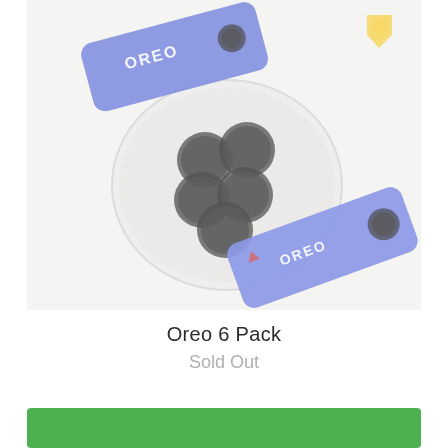[Figure (photo): Product photo of Oreo cookies: two blue Oreo cookie packages and several dark chocolate Oreo cookies arranged on a white speckled ceramic plate, shot from above on a white/light gray background. A yellow upward-pointing chevron icon is partially visible in the upper right corner. The image has a slightly washed-out/faded overlay.]
Oreo 6 Pack
Sold Out